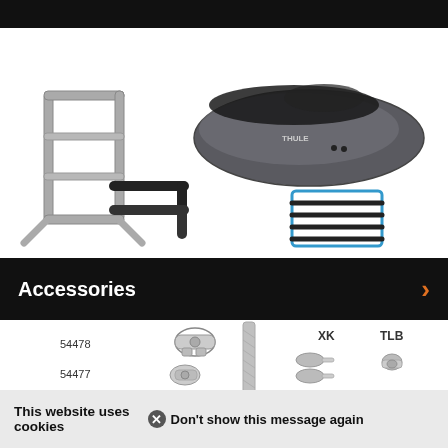[Figure (photo): Product photo showing a silver bike rack stand, a dark gray roof cargo box with black bungee cover, two black L-shaped hooks/bars, and a black rope ladder with blue frame]
Accessories
[Figure (illustration): Accessories parts diagram showing part numbers 54478, 54477, 53831, a long narrow rail/strip, and accessories labeled XK and TLB with small hardware illustrations]
This website uses cookies
Don't show this message again